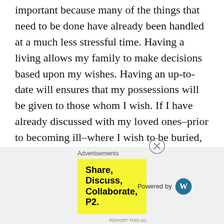that I am dying? I would write one. Thinking of this is very important because many of the things that need to be done have already been handled at a much less stressful time. Having a living allows my family to make decisions based upon my wishes. Having an up-to-date will ensures that my possessions will be given to those whom I wish. If I have already discussed with my loved ones–prior to becoming ill–where I wish to be buried, then the difficult decision is made with thought and reflection and before I am confronted with its reality. I  my accounts and Life Insurance policy joined with my wife so that if death took either of us there would be no extra stress trying to sort out who would own the estate. I believe it is wise to make sure the papers–life
Advertisements
[Figure (other): Yellow advertisement banner for P2 WordPress plugin reading 'Share, Discuss, Collaborate, P2.' with 'Powered by WordPress' logo on the right]